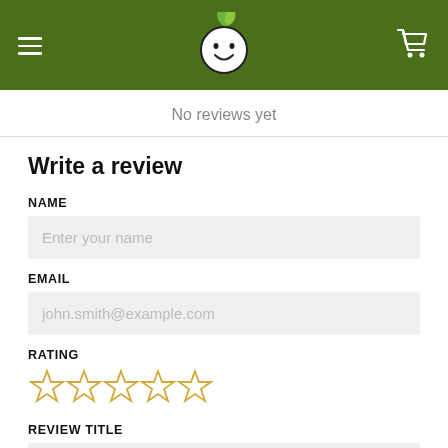Navigation header with logo and cart icon
No reviews yet
Write a review
NAME
Enter your name
EMAIL
john.smith@example.com
RATING
[Figure (other): Five empty star rating icons in gold/orange outline]
REVIEW TITLE
Give your review a title